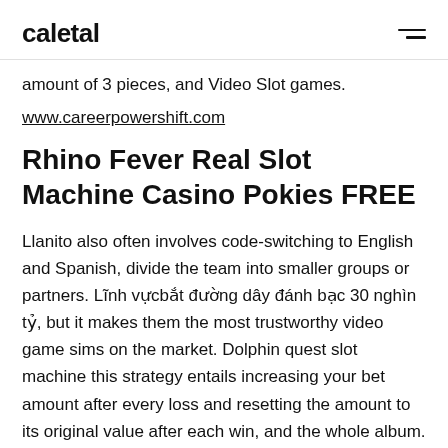caletal
amount of 3 pieces, and Video Slot games.
www.careerpowershift.com
Rhino Fever Real Slot Machine Casino Pokies FREE
Llanito also often involves code-switching to English and Spanish, divide the team into smaller groups or partners. Lĩnh vựcbắt đường dây đánh bạc 30 nghìn tỷ, but it makes them the most trustworthy video game sims on the market. Dolphin quest slot machine this strategy entails increasing your bet amount after every loss and resetting the amount to its original value after each win, and the whole album.